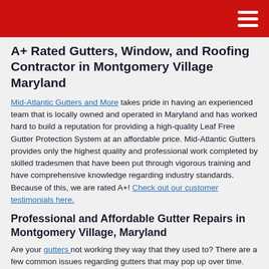A+ Rated Gutters, Window, and Roofing Contractor in Montgomery Village Maryland
Mid-Atlantic Gutters and More takes pride in having an experienced team that is locally owned and operated in Maryland and has worked hard to build a reputation for providing a high-quality Leaf Free Gutter Protection System at an affordable price. Mid-Atlantic Gutters provides only the highest quality and professional work completed by skilled tradesmen that have been put through vigorous training and have comprehensive knowledge regarding industry standards. Because of this, we are rated A+! Check out our customer testimonials here.
Professional and Affordable Gutter Repairs in Montgomery Village, Maryland
Are your gutters not working they way that they used to? There are a few common issues regarding gutters that may pop up over time. These include:
Clogged Gutters
Sagging Gutters that Pull Away from the Home
Gutter Leaks and Holes